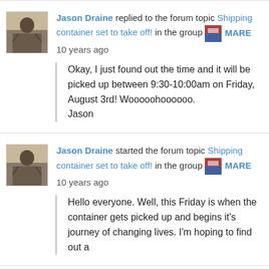Jason Draine replied to the forum topic Shipping container set to take off! in the group MARE
10 years ago
Okay, I just found out the time and it will be picked up between 9:30-10:00am on Friday, August 3rd! Woooohooooo.
Jason
Jason Draine started the forum topic Shipping container set to take off! in the group MARE
10 years ago
Hello everyone. Well, this Friday is when the container gets picked up and begins it's journey of changing lives. I'm hoping to find out a